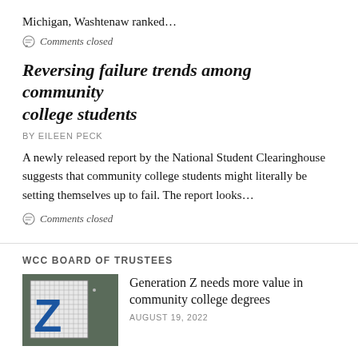Michigan, Washtenaw ranked…
Comments closed
Reversing failure trends among community college students
BY EILEEN PECK
A newly released report by the National Student Clearinghouse suggests that community college students might literally be setting themselves up to fail. The report looks…
Comments closed
WCC BOARD OF TRUSTEES
[Figure (photo): Thumbnail image showing a blue letter Z on a grid background]
Generation Z needs more value in community college degrees
AUGUST 19, 2022